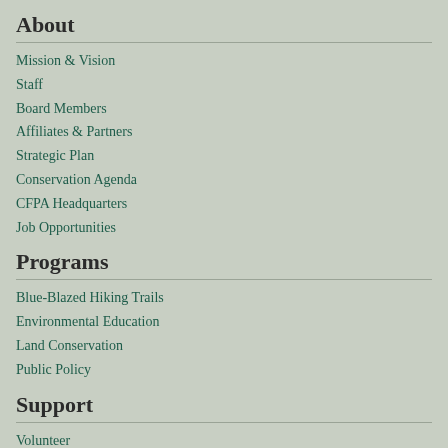About
Mission & Vision
Staff
Board Members
Affiliates & Partners
Strategic Plan
Conservation Agenda
CFPA Headquarters
Job Opportunities
Programs
Blue-Blazed Hiking Trails
Environmental Education
Land Conservation
Public Policy
Support
Volunteer
Membership
Giving
Sponsor